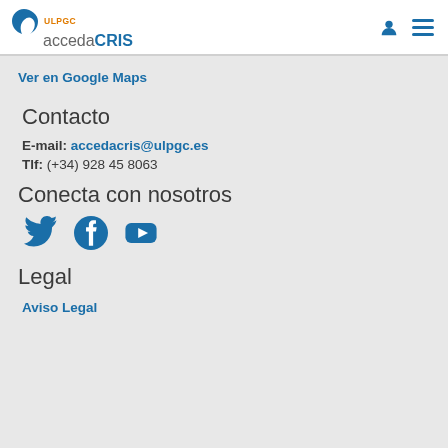ULPGC accedaCRIS
Ver en Google Maps
Contacto
E-mail: accedacris@ulpgc.es
Tlf: (+34) 928 45 8063
Conecta con nosotros
[Figure (illustration): Social media icons: Twitter (bird), Facebook (f), YouTube (play button triangle)]
Legal
Aviso Legal